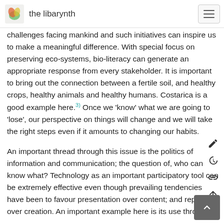the libarynth
challenges facing mankind and such initiatives can inspire us to make a meaningful difference. With special focus on preserving eco-systems, bio-literacy can generate an appropriate response from every stakeholder. It is important to bring out the connection between a fertile soil, and healthy crops, healthy animals and healthy humans. Costarica is a good example here.3) Once we 'know' what we are going to 'lose', our perspective on things will change and we will take the right steps even if it amounts to changing our habits.
An important thread through this issue is the politics of information and communication; the question of, who can know what? Technology as an important participatory tool can be extremely effective even though prevailing tendencies have been to favour presentation over content; and replication over creation. An important example here is its use through